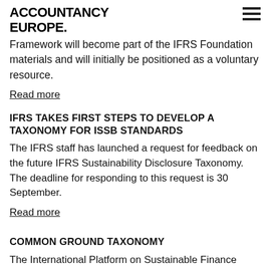ACCOUNTANCY EUROPE.
Framework will become part of the IFRS Foundation materials and will initially be positioned as a voluntary resource.
Read more
IFRS TAKES FIRST STEPS TO DEVELOP A TAXONOMY FOR ISSB STANDARDS
The IFRS staff has launched a request for feedback on the future IFRS Sustainability Disclosure Taxonomy. The deadline for responding to this request is 30 September.
Read more
COMMON GROUND TAXONOMY
The International Platform on Sustainable Finance updated the Common Ground Taxonomy (CGT...